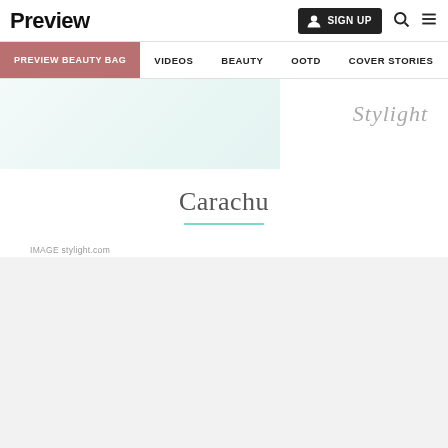Preview | SIGN UP
PREVIEW BEAUTY BAG  VIDEOS  BEAUTY  OOTD  COVER STORIES
[Figure (other): Stylight branded image with teal/green gradient background and Stylight watermark text]
Carachu
IMAGE stylight.com